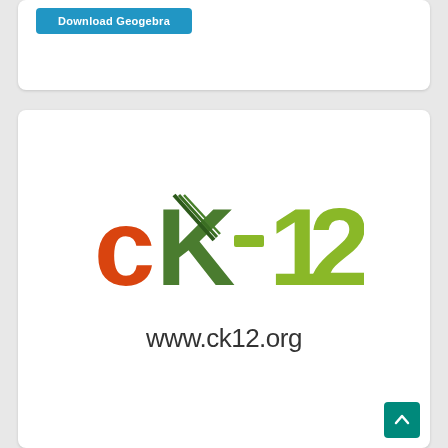[Figure (screenshot): Download Geogebra button on a white card panel]
[Figure (logo): CK-12 logo with colorful text and www.ck12.org URL below it, displayed on a white card]